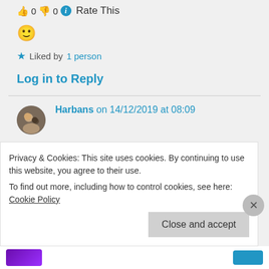👍 0 👎 0 ℹ Rate This
[Figure (illustration): Smiley face emoji 🙂]
★ Liked by 1 person
Log in to Reply
Harbans on 14/12/2019 at 08:09
👍 0 👎 0 ℹ Rate This
Thanks and regards..:))
Privacy & Cookies: This site uses cookies. By continuing to use this website, you agree to their use.
To find out more, including how to control cookies, see here: Cookie Policy